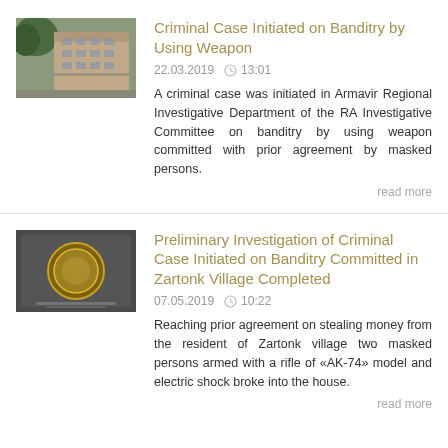Criminal Case Initiated on Banditry by Using Weapon
22.03.2019  13:01
A criminal case was initiated in Armavir Regional Investigative Department of the RA Investigative Committee on banditry by using weapon committed with prior agreement by masked persons.
read more
[Figure (photo): Photo of a building exterior, likely a government or institutional building]
Preliminary Investigation of Criminal Case Initiated on Banditry Committed in Zartonk Village Completed
07.05.2019  10:22
Reaching prior agreement on stealing money from the resident of Zartonk village two masked persons armed with a rifle of «AK-74» model and electric shock broke into the house.
read more
[Figure (photo): Photo of an official government badge or plaque with Armenian text]